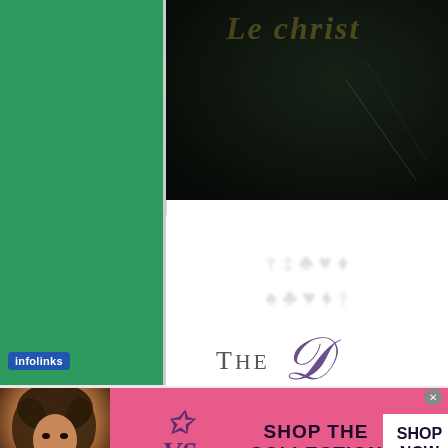[Figure (illustration): Book cover with dark background and gold italic title text reading 'Le Christ' (partially visible), with decorative script styling]
The D
[Figure (advertisement): Victoria's Secret banner ad with pink background, model photo on left, VS logo, 'SHOP THE COLLECTION' text, and white 'SHOP NOW' button]
infolinks